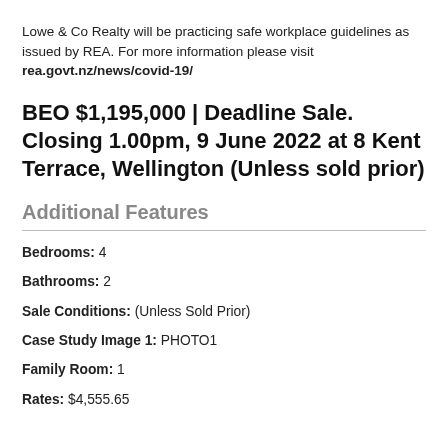Lowe & Co Realty will be practicing safe workplace guidelines as issued by REA. For more information please visit rea.govt.nz/news/covid-19/
BEO $1,195,000 | Deadline Sale. Closing 1.00pm, 9 June 2022 at 8 Kent Terrace, Wellington (Unless sold prior)
Additional Features
Bedrooms: 4
Bathrooms: 2
Sale Conditions: (Unless Sold Prior)
Case Study Image 1: PHOTO1
Family Room: 1
Rates: $4,555.65